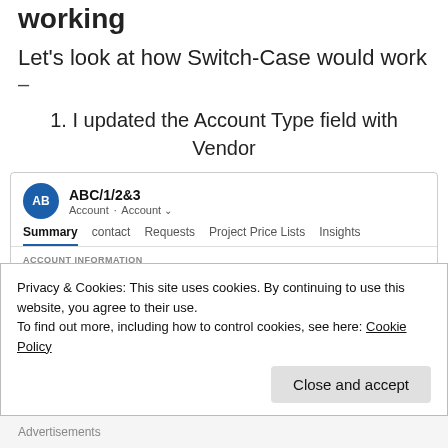working
Let's look at how Switch-Case would work
–
1. I updated the Account Type field with Vendor
[Figure (screenshot): CRM account screenshot showing ABC/1/2&3 account with Summary, contact, Requests, Project Price Lists, Insights tabs and ACCOUNT INFORMATION section with Phone field]
Privacy & Cookies: This site uses cookies. By continuing to use this website, you agree to their use.
To find out more, including how to control cookies, see here: Cookie Policy
Close and accept
Advertisements